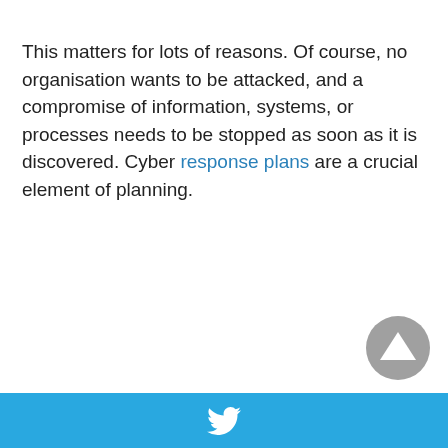This matters for lots of reasons. Of course, no organisation wants to be attacked, and a compromise of information, systems, or processes needs to be stopped as soon as it is discovered. Cyber response plans are a crucial element of planning.
[Figure (other): Grey circular scroll-to-top button with upward pointing triangle arrow]
Twitter icon on blue footer bar